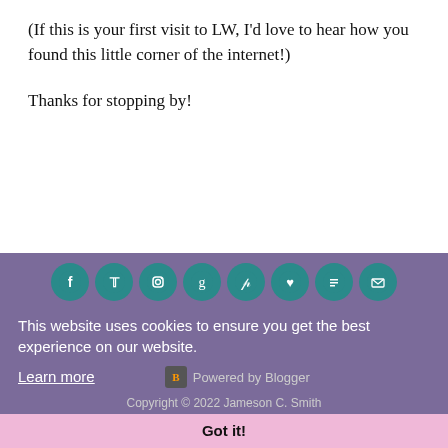(If this is your first visit to LW, I'd love to hear how you found this little corner of the internet!)
Thanks for stopping by!
[Figure (infographic): Row of 8 teal circular social media icons: Facebook, Twitter, Instagram, Google, Pinterest, Heart/Bloglovin, Bloglovin list, Email]
This website uses cookies to ensure you get the best experience on our website.
Learn more
Powered by Blogger
Copyright © 2022 Jameson C. Smith
Got it!